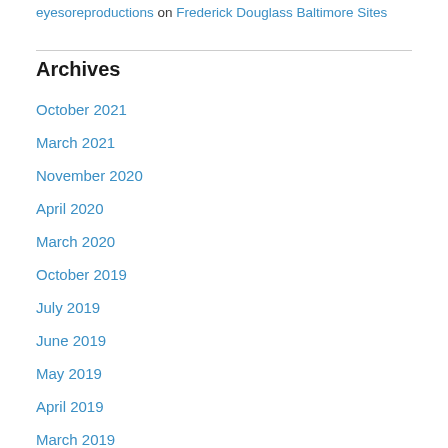eyesoreproductions on Frederick Douglass Baltimore Sites
Archives
October 2021
March 2021
November 2020
April 2020
March 2020
October 2019
July 2019
June 2019
May 2019
April 2019
March 2019
February 2019
January 2019
December 2018
November 2018